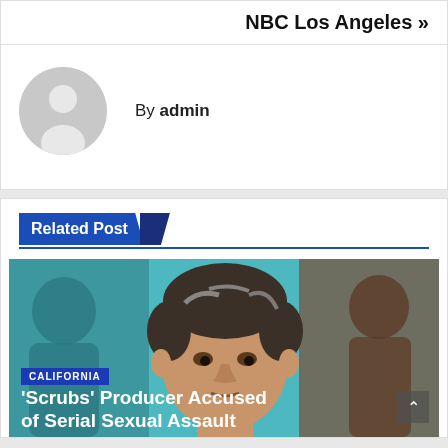NBC Los Angeles »
[Figure (illustration): Default user avatar — grey circle with silhouette of a person]
By admin
Related Post
[Figure (photo): Photo of a middle-aged man with grey-flecked dark hair against a teal background, flanked by two blurred figures]
CALIFORNIA
'Scrubs' Producer Accused of Serial Sexual Assault